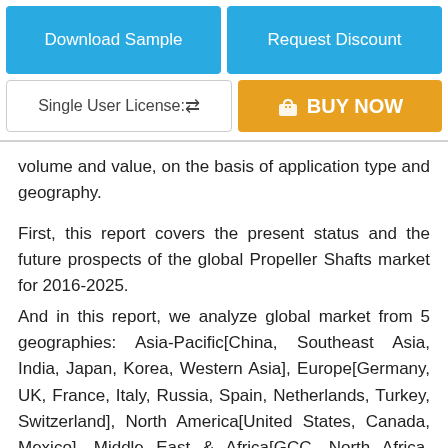[Figure (other): Two blue buttons: 'Download Sample' and 'Request Discount' side by side]
[Figure (other): License selector dropdown 'Single User License:' and orange 'BUY NOW' button]
volume and value, on the basis of application type and geography.
First, this report covers the present status and the future prospects of the global Propeller Shafts market for 2016-2025.
And in this report, we analyze global market from 5 geographies: Asia-Pacific[China, Southeast Asia, India, Japan, Korea, Western Asia], Europe[Germany, UK, France, Italy, Russia, Spain, Netherlands, Turkey, Switzerland], North America[United States, Canada, Mexico], Middle East & Africa[GCC, North Africa, South Africa...